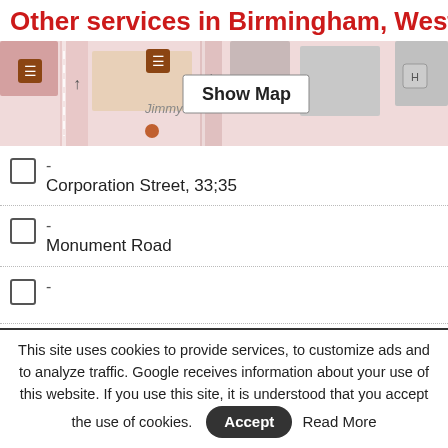Other services in Birmingham, West Midlands
[Figure (map): Street map showing Birmingham area with map pins and a 'Show Map' button overlay]
- Corporation Street, 33;35
- Monument Road
-
- Saint Paul's Square
- Saint Paul's Square
- The Gardens
This site uses cookies to provide services, to customize ads and to analyze traffic. Google receives information about your use of this website. If you use this site, it is understood that you accept the use of cookies. Accept Read More